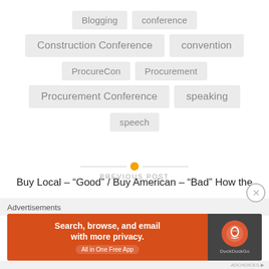Blogging
conference
Construction Conference
convention
ProcureCon
Procurement
Procurement Conference
speaking
speech
PREVIOUS POST
Buy Local – “Good” / Buy American – “Bad” How the
Advertisements
[Figure (other): DuckDuckGo advertisement banner: Search, browse, and email with more privacy. All in One Free App. DuckDuckGo logo on right side.]